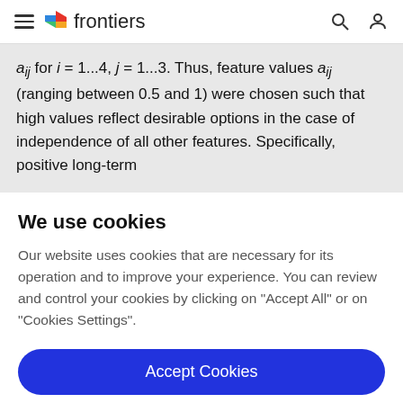frontiers
aᵢⱼ for i = 1...4, j = 1...3. Thus, feature values aᵢⱼ (ranging between 0.5 and 1) were chosen such that high values reflect desirable options in the case of independence of all other features. Specifically, positive long-term
We use cookies
Our website uses cookies that are necessary for its operation and to improve your experience. You can review and control your cookies by clicking on “Accept All” or on “Cookies Settings”.
Accept Cookies
Cookies Settings